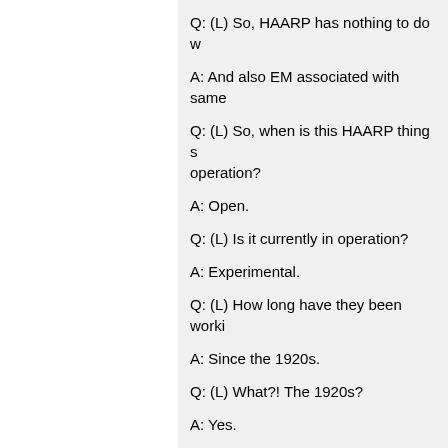Q: (L) So, HAARP has nothing to do w
A: And also EM associated with same
Q: (L) So, when is this HAARP thing s operation?
A: Open.
Q: (L) Is it currently in operation?
A: Experimental.
Q: (L) How long have they been worki
A: Since the 1920s.
Q: (L) What?! The 1920s?
A: Yes.